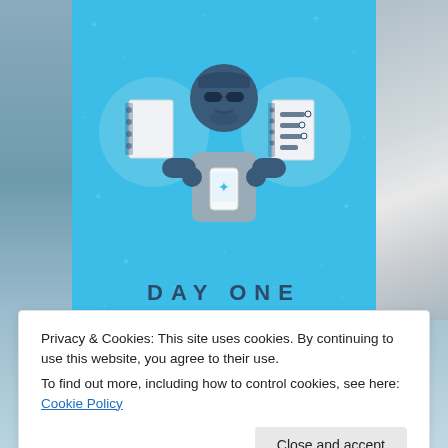[Figure (illustration): Day One app promotional image: blue background with illustration of a person holding a phone, flanked by two notebook icons in circular frames. 'DAY ONE' text in large spaced letters below.]
Privacy & Cookies: This site uses cookies. By continuing to use this website, you agree to their use.
To find out more, including how to control cookies, see here: Cookie Policy
Close and accept